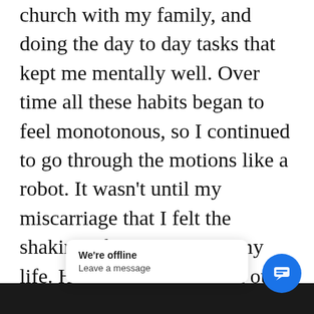church with my family, and doing the day to day tasks that kept me mentally well. Over time all these habits began to feel monotonous, so I continued to go through the motions like a robot. It wasn't until my miscarriage that I felt the shaking of God's word in my life. He tells us to put ALL our faith in Him. That means doing more than just going through the motions and attending church on Sundays because it is what we are supp[osed to do]